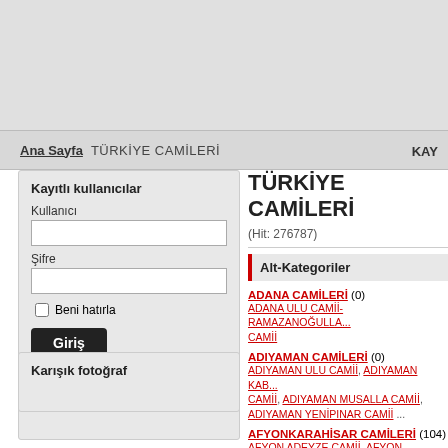Ana Sayfa  TÜRKİYE CAMİLERİ  KAY...
TÜRKİYE CAMİLERİ
(Hit: 276787)
Alt-Kategoriler
Kayıtlı kullanıcılar
Kullanıcı
Şifre
Beni hatırla
Giriş
» Şifremi unuttum
» Kayıt ol
Karışık fotoğraf
ADANA CAMİLERİ (0)
ADANA ULU CAMİİ- RAMAZANOĞULLARI CAMİİ
ADIYAMAN CAMİLERİ (0)
ADIYAMAN ULU CAMİİ, ADIYAMAN KABA CAMİİ, ADIYAMAN MUSALLA CAMİİ, ADIYAMAN YENİPINAR CAMİİ ...
AFYONKARAHISAR CAMİLERİ (104)
AFYON ADEYZE CAMİİ, AFYON AKOŞMANOĞLU CAMİİ, AFYON ARAP D... CAMİİ, AFYON ARASTA CAMİİ ...
AĞRI CAMİLERİ (55)
AHMEDİ HANİ TÜRBESİ VE CAMİİ, ESKİ BEYAZIT CAMİİ, İSHAK PAŞA SARAYI Vİ... CAMİİ
AKSARAY CAMİLERİ (48)